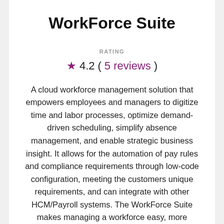WorkForce Suite
RATING
★ 4.2 ( 5 reviews )
A cloud workforce management solution that empowers employees and managers to digitize time and labor processes, optimize demand-driven scheduling, simplify absence management, and enable strategic business insight. It allows for the automation of pay rules and compliance requirements through low-code configuration, meeting the customers unique requirements, and can integrate with other HCM/Payroll systems. The WorkForce Suite makes managing a workforce easy, more rewarding, and less costly.
Learn more about WorkForce Suite